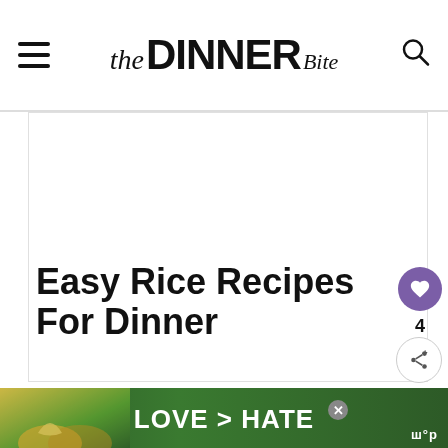the DINNER Bite
[Figure (screenshot): White advertisement placeholder box with border]
Easy Rice Recipes For Dinner
Ajoke
Looking for quick and easy dinner ideas with rice? Today, I am sharing with my collections
[Figure (infographic): WHAT'S NEXT arrow label with thumbnail showing '31 Quick and Easy Family...']
[Figure (photo): Ad banner with hands making heart shape, text: LOVE > HATE]